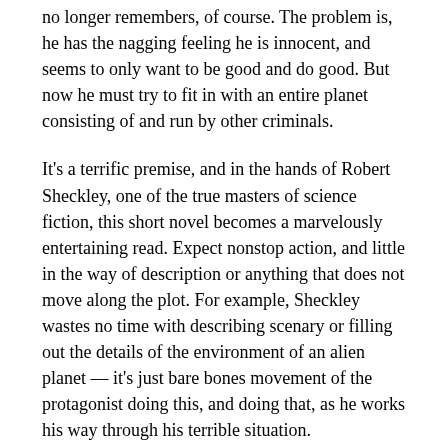no longer remembers, of course. The problem is, he has the nagging feeling he is innocent, and seems to only want to be good and do good. But now he must try to fit in with an entire planet consisting of and run by other criminals.
It's a terrific premise, and in the hands of Robert Sheckley, one of the true masters of science fiction, this short novel becomes a marvelously entertaining read. Expect nonstop action, and little in the way of description or anything that does not move along the plot. For example, Sheckley wastes no time with describing scenary or filling out the details of the environment of an alien planet — it's just bare bones movement of the protagonist doing this, and doing that, as he works his way through his terrible situation.
In my personal pantheon of favorite science fiction gods, Robert Sheckley is among the top three. The primary reason is this: He is a master of a certain kind of cynical, dry and wry irony that is nothing less than hilarious. It's Sheckley's